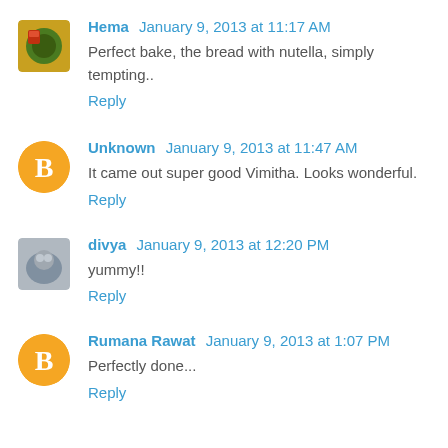Hema January 9, 2013 at 11:17 AM
Perfect bake, the bread with nutella, simply tempting..
Reply
Unknown January 9, 2013 at 11:47 AM
It came out super good Vimitha. Looks wonderful.
Reply
divya January 9, 2013 at 12:20 PM
yummy!!
Reply
Rumana Rawat January 9, 2013 at 1:07 PM
Perfectly done...
Reply